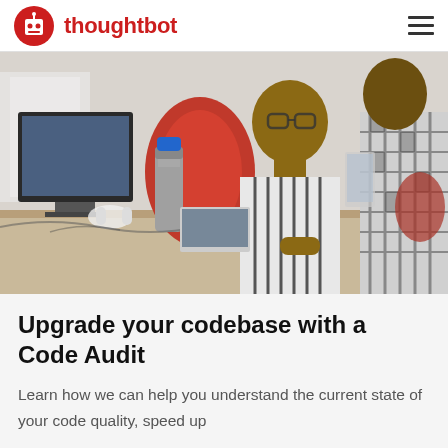thoughtbot
[Figure (photo): Two people working at a desk in an office setting. A man in a striped shirt is seated at a computer with a water bottle on the desk. Another person in a plaid shirt is visible from behind on the right.]
Upgrade your codebase with a Code Audit
Learn how we can help you understand the current state of your code quality, speed up